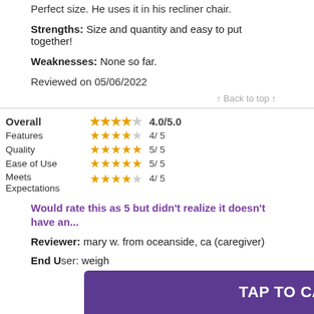Perfect size. He uses it in his recliner chair.
Strengths: Size and quantity and easy to put together!
Weaknesses: None so far.
Reviewed on 05/06/2022
↑ Back to top ↑
| Category | Stars | Score |
| --- | --- | --- |
| Overall | ★★★★☆ | 4.0/5.0 |
| Features | ★★★★☆ | 4/ 5 |
| Quality | ★★★★★ | 5/ 5 |
| Ease of Use | ★★★★★ | 5/ 5 |
| Meets Expectations | ★★★★☆ | 4/ 5 |
Would rate this as 5 but didn't realize it doesn't have an...
Reviewer: mary w. from oceanside, ca (caregiver)
End User: weigh...
TAP TO CALL 1-800-628-6347